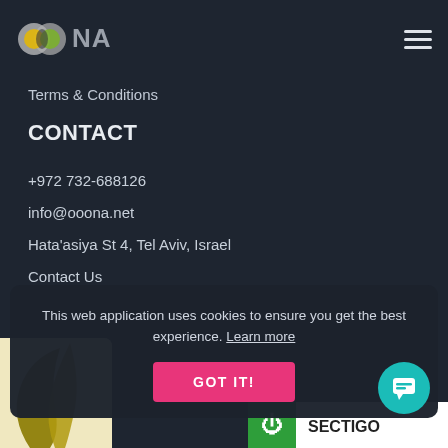[Figure (logo): OONA logo with colored circle icon and gray text]
Terms & Conditions
CONTACT
+972 732-688126
info@ooona.net
Hata'asiya St 4, Tel Aviv, Israel
Contact Us
This web application uses cookies to ensure you get the best experience. Learn more
[Figure (screenshot): Cookie consent banner with GOT IT! button and teal chat bubble]
[Figure (logo): Certification badge at bottom left, partial view]
[Figure (logo): Sectigo SSL security badge at bottom right]